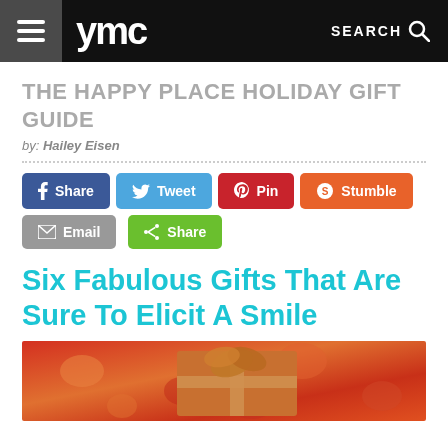ymc  SEARCH
THE HAPPY PLACE HOLIDAY GIFT GUIDE
by: Hailey Eisen
[Figure (infographic): Social sharing buttons: Share (Facebook), Tweet (Twitter), Pin (Pinterest), Stumble (StumbleUpon), Email, Share (generic)]
Six Fabulous Gifts That Are Sure To Elicit A Smile
[Figure (photo): A wrapped holiday gift box with red and orange floral wrapping paper and a bow on top]